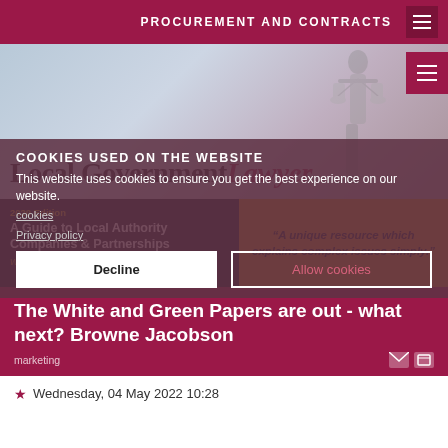PROCUREMENT AND CONTRACTS
[Figure (screenshot): Website screenshot of Local Government Lawyer with hero banner showing Lady Justice silhouette on blue-grey gradient background, and site logo text 'Local Government Lawyer']
Cookies used on the website
This website uses cookies to ensure you get the best experience on our website.
cookies
Privacy policy
Decline
Allow cookies
2020 Edition
A Guide to Local Authority Companies & Partnerships
Written and edited by Robert Hann
“A unique resource which explains complex issues simply.”
The White and Green Papers are out - what next? Browne Jacobson
marketing
Wednesday, 04 May 2022 10:28